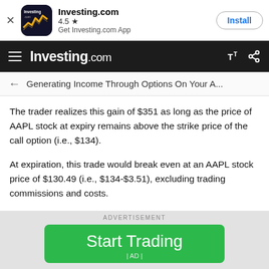[Figure (screenshot): App install banner for Investing.com showing app icon, 4.5 star rating, and Install button]
Investing.com navigation bar with hamburger menu, Investing.com logo, font size button, and share button
← Generating Income Through Options On Your A...
The trader realizes this gain of $351 as long as the price of AAPL stock at expiry remains above the strike price of the call option (i.e., $134).
At expiration, this trade would break even at an AAPL stock price of $130.49 (i.e., $134-$3.51), excluding trading commissions and costs.
Another way to think of this break-even price is to subtract the call option premium ($4.60) from the price
ADVERTISEMENT
[Figure (other): Green Start Trading advertisement button with |AD| label]